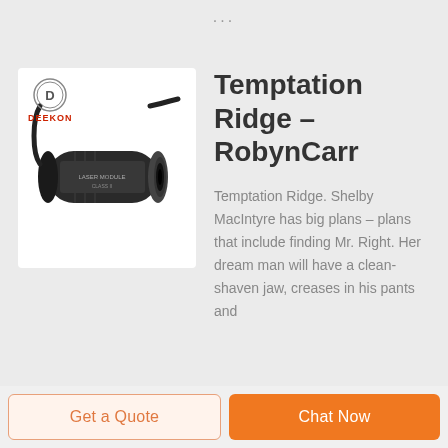[Figure (photo): Deekon brand laser module/sensor device, cylindrical black body with cable, shown on white background with Deekon logo (circle with D inside) and red DEEKON text in top-left corner]
Temptation Ridge – RobynCarr
Temptation Ridge. Shelby MacIntyre has big plans – plans that include finding Mr. Right. Her dream man will have a clean-shaven jaw, creases in his pants and